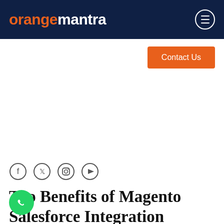orangemantra
Contact Us
[Figure (illustration): Social media icons: Facebook, Twitter, Instagram, YouTube — circular outline icons in a row]
Top Benefits of Magento Salesforce Integration
Jan-27 2021